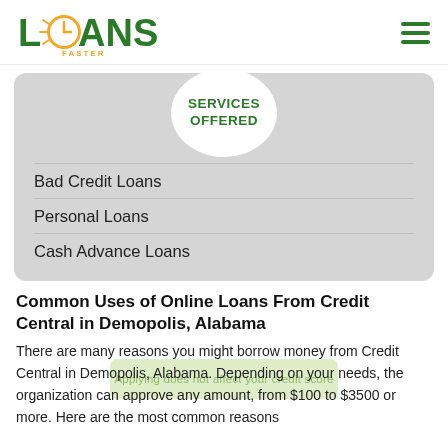LOANS FASTER
SERVICES OFFERED
Bad Credit Loans
Personal Loans
Cash Advance Loans
Common Uses of Online Loans From Credit Central in Demopolis, Alabama
There are many reasons you might borrow money from Credit Central in Demopolis, Alabama. Depending on your needs, the organization can approve any amount, from $100 to $3500 or more. Here are the most common reasons...